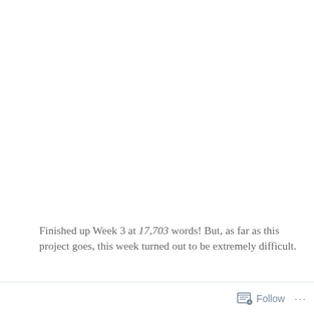Finished up Week 3 at 17,703 words! But, as far as this project goes, this week turned out to be extremely difficult.
Shortly after I wrote my last post, my journey home from
Follow ···